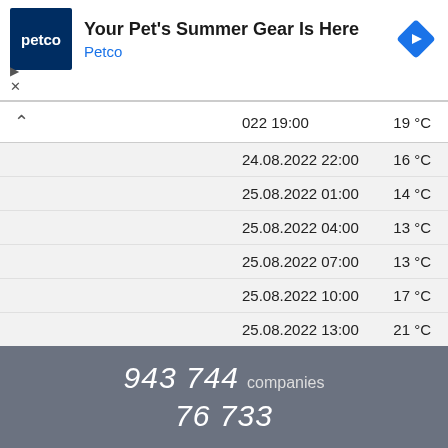[Figure (screenshot): Petco advertisement banner: logo with 'petco' in white on dark blue background, heading 'Your Pet's Summer Gear Is Here', brand name 'Petco' in blue, blue diamond navigation icon, play and close controls]
| Date/Time | Temperature |
| --- | --- |
| 022 19:00 | 19 °C |
| 24.08.2022 22:00 | 16 °C |
| 25.08.2022 01:00 | 14 °C |
| 25.08.2022 04:00 | 13 °C |
| 25.08.2022 07:00 | 13 °C |
| 25.08.2022 10:00 | 17 °C |
| 25.08.2022 13:00 | 21 °C |
| 25.08.2022 16:00 | 23 °C |
| 25.08.2022 19:00 | 21 °C |
| 25.08.2022 22:00 | 13 °C |
943 744 companies
76 733